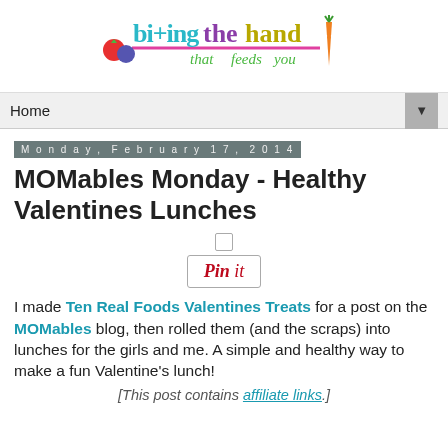[Figure (logo): Blog logo: 'biting the hand that feeds you' with colorful text and cartoon fruit/carrot illustrations]
Home ▼
Monday, February 17, 2014
MOMables Monday - Healthy Valentines Lunches
[Figure (screenshot): Pin It button widget with checkbox above]
I made Ten Real Foods Valentines Treats for a post on the MOMables blog, then rolled them (and the scraps) into lunches for the girls and me. A simple and healthy way to make a fun Valentine's lunch!
[This post contains affiliate links.]